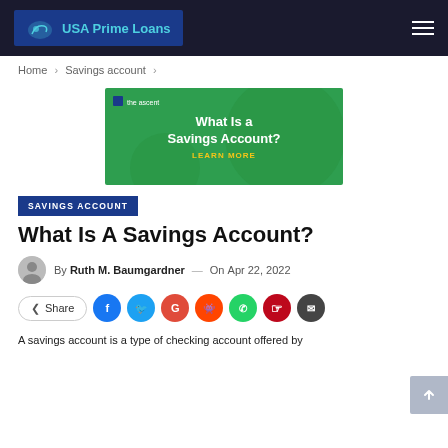USA Prime Loans
Home > Savings account >
[Figure (illustration): Green banner image with 'What Is a Savings Account? LEARN MORE' text and The Ascent logo]
SAVINGS ACCOUNT
What Is A Savings Account?
By Ruth M. Baumgardner — On Apr 22, 2022
Share buttons row: Share, Facebook, Twitter, Google, Reddit, WhatsApp, Pinterest, Email
A savings account is a type of checking account offered by